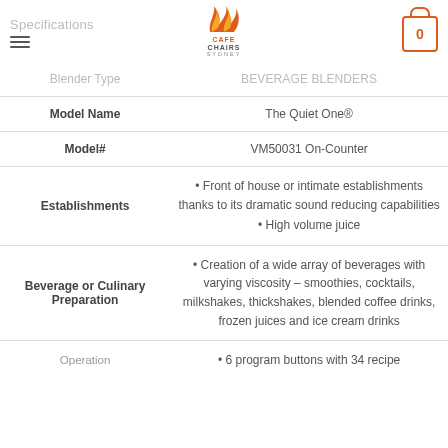Specifications — Cafe Chairs Sydney — Cart (0)
| Label | Value |
| --- | --- |
| Blender Type | BEVERAGE BLENDERS |
| Model Name | The Quiet One® |
| Model# | VM50031 On-Counter |
| Establishments | • Front of house or intimate establishments thanks to its dramatic sound reducing capabilities
• High volume juice |
| Beverage or Culinary Preparation | • Creation of a wide array of beverages with varying viscosity – smoothies, cocktails, milkshakes, thickshakes, blended coffee drinks, frozen juices and ice cream drinks |
| Operation | • 6 program buttons with 34 recipe |